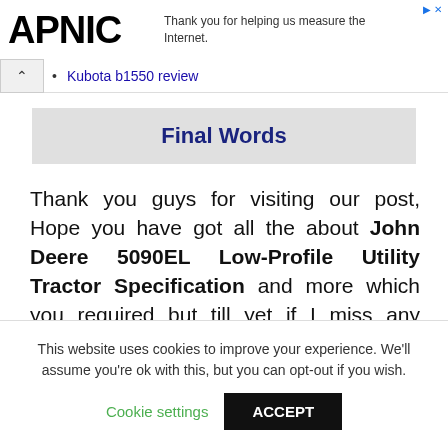APNIC — Thank you for helping us measure the Internet.
Kubota b1550 review
Final Words
Thank you guys for visiting our post, Hope you have got all the about John Deere 5090EL Low-Profile Utility Tractor Specification and more which you required but till yet if I miss any details as per your needs then you can
This website uses cookies to improve your experience. We'll assume you're ok with this, but you can opt-out if you wish. Cookie settings ACCEPT